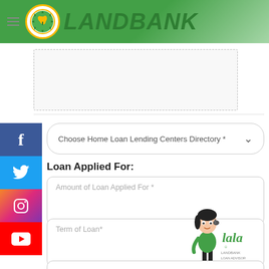LANDBANK
[Figure (screenshot): LANDBANK logo with plant/leaf icon inside green circle with gold border, and text input area with dashed border below header]
[Figure (infographic): Social media sidebar with Facebook (blue), Twitter (light blue), Instagram (gradient), YouTube (red) icons]
Choose Home Loan Lending Centers Directory *
Loan Applied For:
Amount of Loan Applied For *
Term of Loan*
[Figure (illustration): Lala virtual assistant character - animated woman with headset wearing green top and black pants, with 'Lala' branding text and LANDBANK LOAN ADVISOR subtitle]